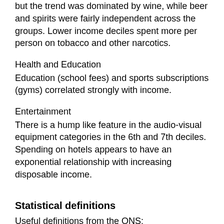but the trend was dominated by wine, while beer and spirits were fairly independent across the groups. Lower income deciles spent more per person on tobacco and other narcotics.
Health and Education
Education (school fees) and sports subscriptions (gyms) correlated strongly with income.
Entertainment
There is a hump like feature in the audio-visual equipment categories in the 6th and 7th deciles. Spending on hotels appears to have an exponential relationship with increasing disposable income.
Statistical definitions
Useful definitions from the ONS: